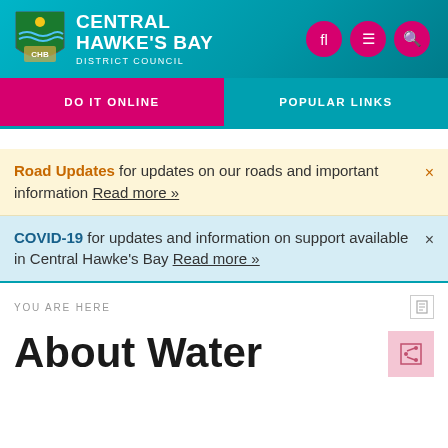[Figure (logo): Central Hawke's Bay District Council shield logo with text]
DO IT ONLINE
POPULAR LINKS
Road Updates for updates on our roads and important information Read more »
COVID-19 for updates and information on support available in Central Hawke's Bay Read more »
YOU ARE HERE
About Water